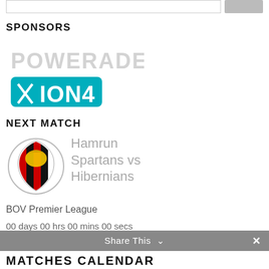[Figure (logo): Powerade ION4 sponsor logo]
SPONSORS
NEXT MATCH
[Figure (logo): Hamrun Spartans Football Club crest logo]
Hamrun Spartans vs Hibernians
BOV Premier League
00 days 00 hrs 00 mins 00 secs
Share This  ✕
MATCHES CALENDAR